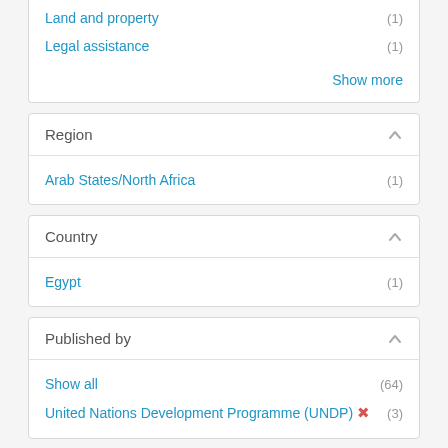Land and property (1)
Legal assistance (1)
Show more
Region
Arab States/North Africa (1)
Country
Egypt (1)
Published by
Show all (64)
United Nations Development Programme (UNDP) ✕ (3)